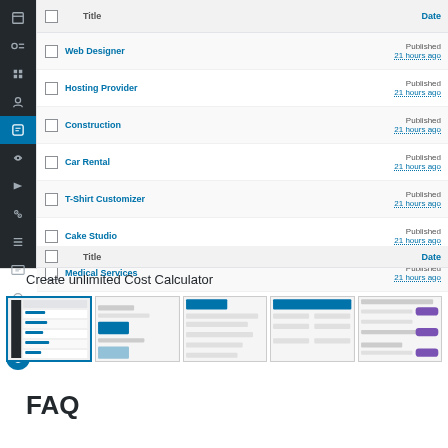[Figure (screenshot): WordPress admin dashboard showing a list of Cost Calculator entries (Web Designer, Hosting Provider, Construction, Car Rental, T-Shirt Customizer, Cake Studio, Medical Services) with Published status and 21 hours ago timestamps. Left sidebar shows dark navigation icons.]
Create unlimited Cost Calculator
[Figure (screenshot): Row of 5 thumbnail screenshots showing different views of the Cost Calculator plugin interface.]
FAQ